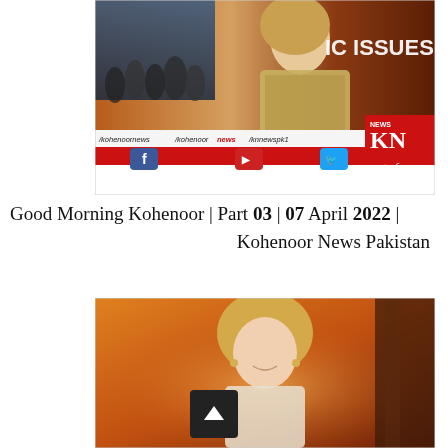[Figure (screenshot): Screenshot of a Kohenoor News broadcast showing a female news anchor in a studio. The bottom bar shows social media handles: /kohenoornews, /kohenoor news, /knnewspk1, along with Facebook, YouTube, and Twitter icons, the KN News logo, and www.kohenoor.tv]
Good Morning Kohenoor | Part 03 | 07 April 2022 | Kohenoor News Pakistan
[Figure (screenshot): Second screenshot of a Kohenoor News broadcast showing a different female news anchor smiling in the studio with a warm-toned background.]